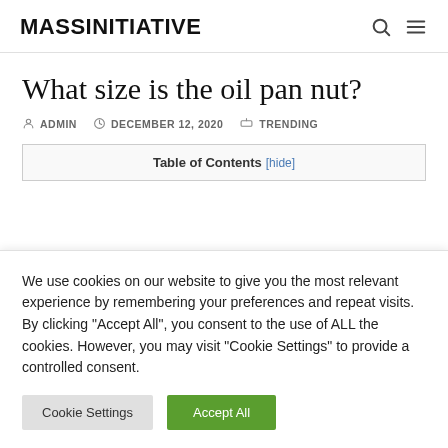MASSINITIATIVE
What size is the oil pan nut?
ADMIN   DECEMBER 12, 2020   TRENDING
| Table of Contents [hide] |
| --- |
We use cookies on our website to give you the most relevant experience by remembering your preferences and repeat visits. By clicking "Accept All", you consent to the use of ALL the cookies. However, you may visit "Cookie Settings" to provide a controlled consent.
Cookie Settings   Accept All